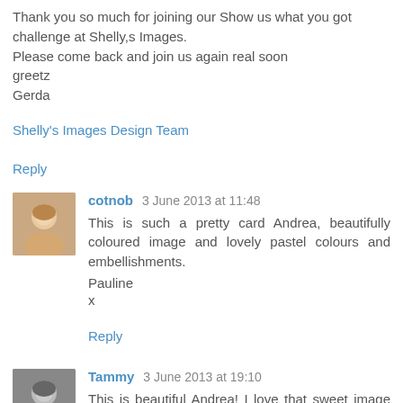Thank you so much for joining our  Show us what you got challenge at Shelly,s Images.
Please come back and join us again real soon
greetz
Gerda
Shelly's Images Design Team
Reply
cotnob 3 June 2013 at 11:48
This is such a pretty card Andrea, beautifully coloured image and lovely pastel colours and embellishments.
Pauline
x
Reply
Tammy 3 June 2013 at 19:10
This is beautiful Andrea! I love that sweet image and your gorgeous pink & blue colors! Thanks for joining us at